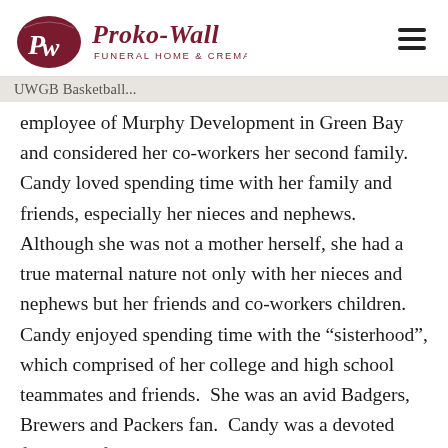Proko-Wall Funeral Home & Crematory
UWGB Basketball...
employee of Murphy Development in Green Bay and considered her co-workers her second family. Candy loved spending time with her family and friends, especially her nieces and nephews. Although she was not a mother herself, she had a true maternal nature not only with her nieces and nephews but her friends and co-workers children. Candy enjoyed spending time with the “sisterhood”, which comprised of her college and high school teammates and friends. She was an avid Badgers, Brewers and Packers fan. Candy was a devoted follower of UWGB women’s basketball.